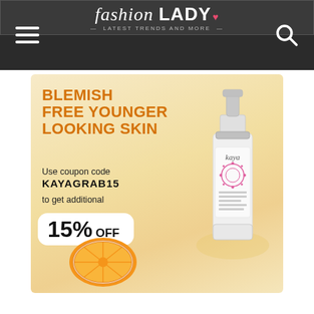fashion LADY — Latest Trends and More —
[Figure (advertisement): Kaya skincare product advertisement banner. Cream/golden background with text 'BLEMISH FREE YOUNGER LOOKING SKIN', coupon code 'KAYAGRAB15' for 15% OFF, Kaya Boost C Formula serum bottle, and orange fruit image.]